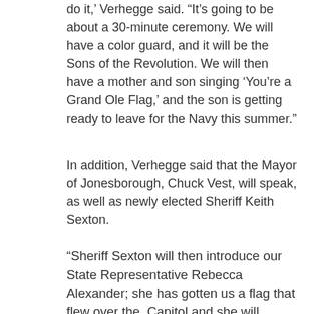do it,' Verhegge said. 'It's going to be about a 30-minute ceremony. We will have a color guard, and it will be the Sons of the Revolution. We will then have a mother and son singing ‘You’re a Grand Ole Flag,’ and the son is getting ready to leave for the Navy this summer.”
In addition, Verhegge said that the Mayor of Jonesborough, Chuck Vest, will speak, as well as newly elected Sheriff Keith Sexton.
“Sheriff Sexton will then introduce our State Representative Rebecca Alexander; she has gotten us a flag that flew over the Capitol and she will present it to the town,” she said. “It won’t be a long ceremony, but we just think it is so important to start educating people about the flag.”
With chapters all over the country, DAR is a non-